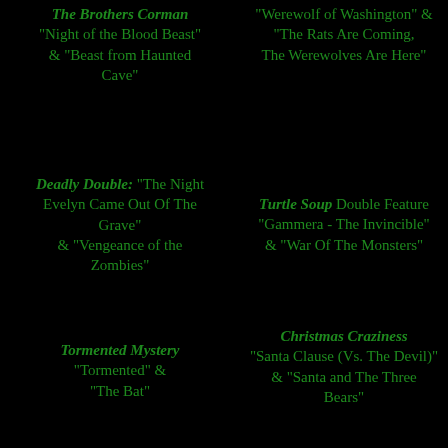The Brothers Corman "Night of the Blood Beast" & "Beast from Haunted Cave"
"Werewolf of Washington" & "The Rats Are Coming, The Werewolves Are Here"
Deadly Double: "The Night Evelyn Came Out Of The Grave" & "Vengeance of the Zombies"
Turtle Soup Double Feature "Gammera - The Invincible" & "War Of The Monsters"
Tormented Mystery "Tormented" & "The Bat"
Christmas Craziness "Santa Clause (Vs. The Devil)" & "Santa and The Three Bears"
Silly Sci-Fi Double Feature "Cat-Women of the Moon" & "Robot Monster"
Spring Time For Witches & Psychos:"Blood Orgy Of The She-Devils" & "Scream Bloody Murder"
Summer Spaghetti
Sexy Summer Six